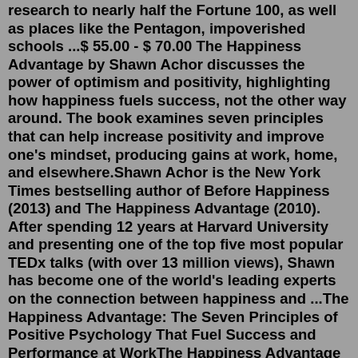research to nearly half the Fortune 100, as well as places like the Pentagon, impoverished schools ...$55.00 - $ 70.00 The Happiness Advantage by Shawn Achor discusses the power of optimism and positivity, highlighting how happiness fuels success, not the other way around. The book examines seven principles that can help increase positivity and improve one's mindset, producing gains at work, home, and elsewhere.Shawn Achor is the New York Times bestselling author of Before Happiness (2013) and The Happiness Advantage (2010). After spending 12 years at Harvard University and presenting one of the top five most popular TEDx talks (with over 13 million views), Shawn has become one of the world's leading experts on the connection between happiness and ...The Happiness Advantage: The Seven Principles of Positive Psychology That Fuel Success and Performance at WorkThe Happiness Advantage The Seven Principles of Positive Psychology That Fuel Success and Performance at Work by Shawn Achor